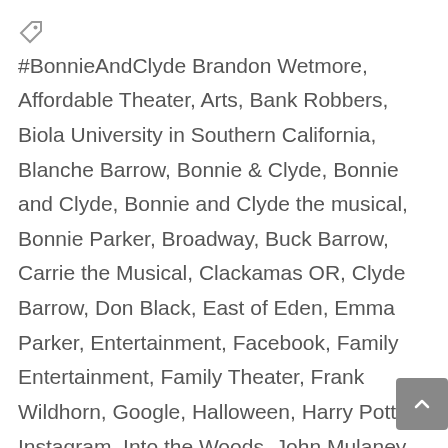#BonnieAndClyde Brandon Wetmore, Affordable Theater, Arts, Bank Robbers, Biola University in Southern California, Blanche Barrow, Bonnie & Clyde, Bonnie and Clyde, Bonnie and Clyde the musical, Bonnie Parker, Broadway, Buck Barrow, Carrie the Musical, Clackamas OR, Clyde Barrow, Don Black, East of Eden, Emma Parker, Entertainment, Facebook, Family Entertainment, Family Theater, Frank Wildhorn, Google, Halloween, Harry Potter, Instagram, Into the Woods, John Mulaney, Littleton, Littleton Entertainment, Littleton Musical, Littleton Theater, Live Band, Live Music, Live Musical, Live Theater, Live Theatre, Local Theater, Local Theatre, Musical, Musicals 2017, Nick Sugar, Performing Arts, Pirates of the Caribbean, Preacher, Sherrif Schmid, Stand By Me, Ted Hinton, THAC, THAC CAST, Theater, Theatre, Town